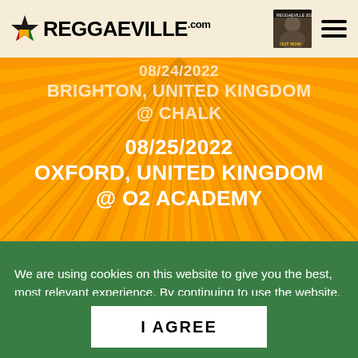REGGAEVILLE.com
08/24/2022 BRIGHTON, UNITED KINGDOM @ CHALK
08/25/2022 OXFORD, UNITED KINGDOM @ O2 ACADEMY
We are using cookies on this website to give you the best, most relevant experience. By continuing to use the website, you agree to the use of cookies. Further information on cookies can be found in our privacy policy.
I AGREE